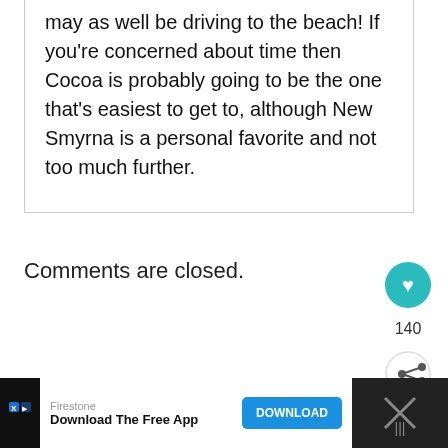may as well be driving to the beach! If you're concerned about time then Cocoa is probably going to be the one that's easiest to get to, although New Smyrna is a personal favorite and not too much further.
Comments are closed.
[Figure (infographic): Teal heart/like button with count 140, and a share icon button below it]
[Figure (infographic): What's Next panel with food photo thumbnail and text '10 of the best places to eat...']
[Figure (infographic): Advertisement bar: Firestone - Download The Free App with DOWNLOAD button]